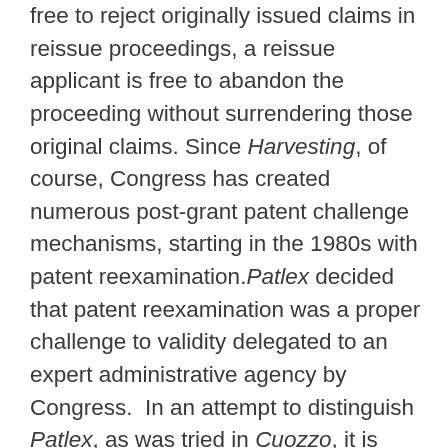free to reject originally issued claims in reissue proceedings, a reissue applicant is free to abandon the proceeding without surrendering those original claims. Since Harvesting, of course, Congress has created numerous post-grant patent challenge mechanisms, starting in the 1980s with patent reexamination.Patlex decided that patent reexamination was a proper challenge to validity delegated to an expert administrative agency by Congress.  In an attempt to distinguish Patlex, as was tried in Cuozzo, it is argued that AIA trial proceedings are litigation-like, and that examiner based proceedings are somehow different — nonsense.  While patent reexamination begins with an examiner, it ends at the Board. The Federal Circuit affirms the Board; this is a distinction without a difference. There is no meaningful